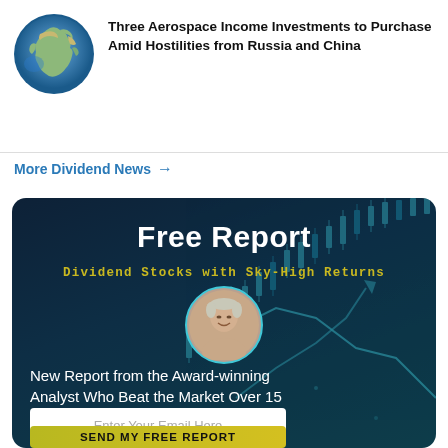[Figure (photo): Globe showing Africa and Middle East region]
Three Aerospace Income Investments to Purchase Amid Hostilities from Russia and China
More Dividend News →
[Figure (infographic): Free Report promotional card with dark navy background, candlestick chart graphic, analyst headshot in circular frame. Title: Free Report. Subtitle: Dividend Stocks with Sky-High Returns. Body: New Report from the Award-winning Analyst Who Beat the Market Over 15 Years. Email input field and SEND MY FREE REPORT button.]
Free Report
Dividend Stocks with Sky-High Returns
New Report from the Award-winning Analyst Who Beat the Market Over 15 Years
Enter Your Email Here
SEND MY FREE REPORT